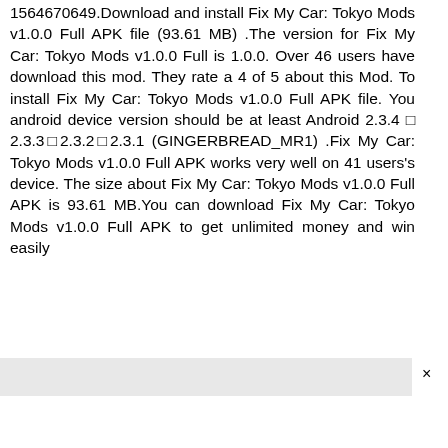1564670649.Download and install Fix My Car: Tokyo Mods v1.0.0 Full APK file (93.61 MB) .The version for Fix My Car: Tokyo Mods v1.0.0 Full is 1.0.0. Over 46 users have download this mod. They rate a 4 of 5 about this Mod. To install Fix My Car: Tokyo Mods v1.0.0 Full APK file. You android device version should be at least Android 2.3.4 ⊡ 2.3.3⊡2.3.2⊡2.3.1 (GINGERBREAD_MR1) .Fix My Car: Tokyo Mods v1.0.0 Full APK works very well on 41 users's device. The size about Fix My Car: Tokyo Mods v1.0.0 Full APK is 93.61 MB.You can download Fix My Car: Tokyo Mods v1.0.0 Full APK to get unlimited money and win easily